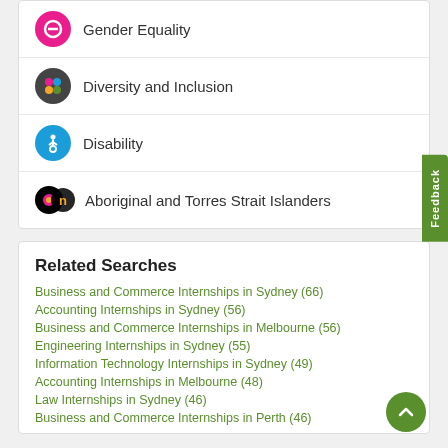Gender Equality
Diversity and Inclusion
Disability
Aboriginal and Torres Strait Islanders
Related Searches
Business and Commerce Internships in Sydney (66)
Accounting Internships in Sydney (56)
Business and Commerce Internships in Melbourne (56)
Engineering Internships in Sydney (55)
Information Technology Internships in Sydney (49)
Accounting Internships in Melbourne (48)
Law Internships in Sydney (46)
Business and Commerce Internships in Perth (46)